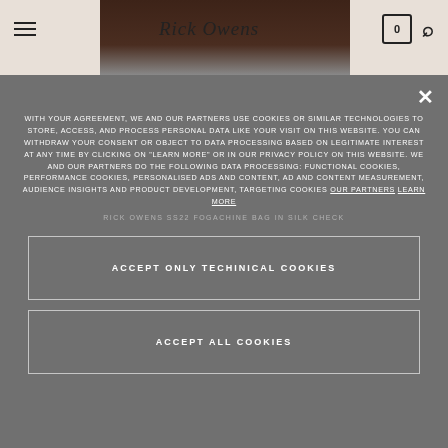Rick Owens — Navigation bar with hamburger menu, brand logo, cart (0), search icon
[Figure (photo): Dark brown/black boots product image partially visible at top of page]
WITH YOUR AGREEMENT, WE AND OUR PARTNERS USE COOKIES OR SIMILAR TECHNOLOGIES TO STORE, ACCESS, AND PROCESS PERSONAL DATA LIKE YOUR VISIT ON THIS WEBSITE. YOU CAN WITHDRAW YOUR CONSENT OR OBJECT TO DATA PROCESSING BASED ON LEGITIMATE INTEREST AT ANY TIME BY CLICKING ON "LEARN MORE" OR IN OUR PRIVACY POLICY ON THIS WEBSITE. WE AND OUR PARTNERS DO THE FOLLOWING DATA PROCESSING: FUNCTIONAL COOKIES, PERFORMANCE COOKIES, PERSONALISED ADS AND CONTENT, AD AND CONTENT MEASUREMENT, AUDIENCE INSIGHTS AND PRODUCT DEVELOPMENT, TARGETING COOKIES OUR PARTNERS LEARN MORE
RICK OWENS SS22 FOGACHINE BAG IN SILK CHECK
ACCEPT ONLY TECHINICAL COOKIES
ACCEPT ALL COOKIES